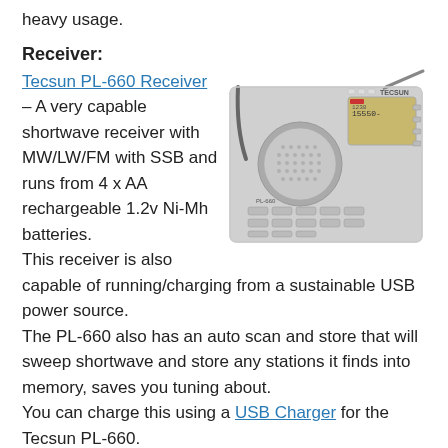heavy usage.
Receiver:
[Figure (photo): Tecsun PL-660 shortwave radio receiver showing silver handheld radio with antenna extended, LCD display showing 15550, speaker grille, keypad buttons, and PL-660 branding.]
Tecsun PL-660 Receiver – A very capable shortwave receiver with MW/LW/FM with SSB and runs from 4 x AA rechargeable 1.2v Ni-Mh batteries.
This receiver is also capable of running/charging from a sustainable USB power source.
The PL-660 also has an auto scan and store that will sweep shortwave and store any stations it finds into memory, saves you tuning about.
You can charge this using a USB Charger for the Tecsun PL-660.
FM Reception:
[Figure (photo): Partial image of what appears to be an antenna or cable, shown at bottom right of page, mostly cropped.]